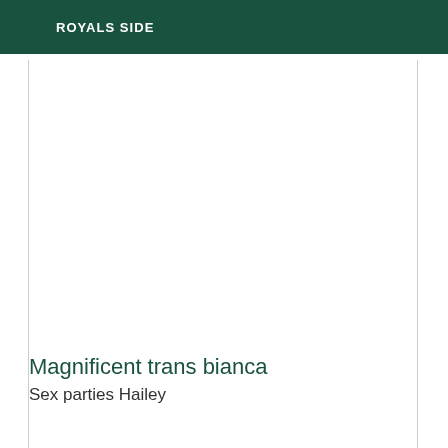ROYALS SIDE
Magnificent trans bianca
Sex parties Hailey